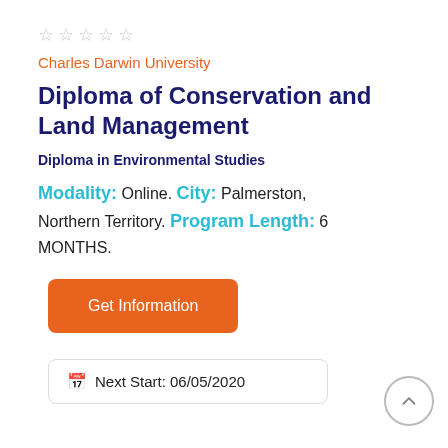[Figure (other): Star rating — 5 empty stars]
Charles Darwin University
Diploma of Conservation and Land Management
Diploma in Environmental Studies
Modality: Online. City: Palmerston, Northern Territory. Program Length: 6 MONTHS.
[Figure (other): Orange 'Get Information' button]
Next Start: 06/05/2020